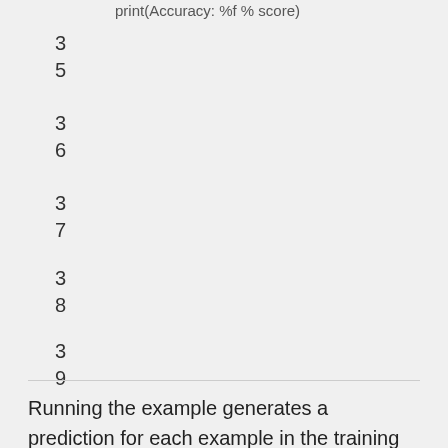print(Accuracy: %f % score)
35
36
37
38
39
40
Running the example generates a prediction for each example in the training data then prints the